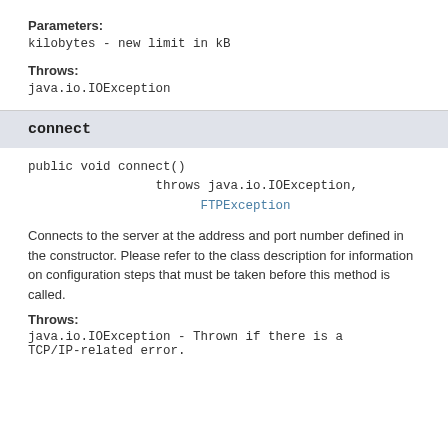Parameters:
kilobytes - new limit in kB
Throws:
java.io.IOException
connect
public void connect()
                throws java.io.IOException,
                       FTPException
Connects to the server at the address and port number defined in the constructor. Please refer to the class description for information on configuration steps that must be taken before this method is called.
Throws:
java.io.IOException - Thrown if there is a TCP/IP-related error.